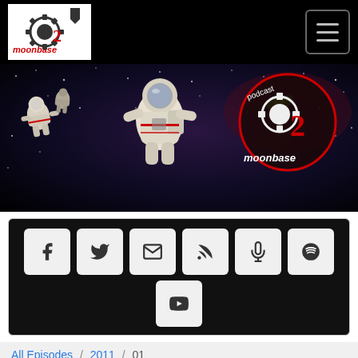[Figure (screenshot): Moonbase 2 Podcast website screenshot showing navigation bar with logo, hero banner with astronauts in space, social media icon buttons, breadcrumb navigation, episode title and audio player card]
Moonbase 2 Podcast — Navigation bar with logo and hamburger menu
[Figure (photo): Hero banner image showing astronauts floating in space with Moonbase 2 Podcast logo overlay]
[Figure (infographic): Social media buttons panel: Facebook, Twitter, Email, RSS, Podcast, Spotify, YouTube]
All Episodes / 2011 / 01
Episode 139
MOONBASE 2 PODCAST
Episode 139